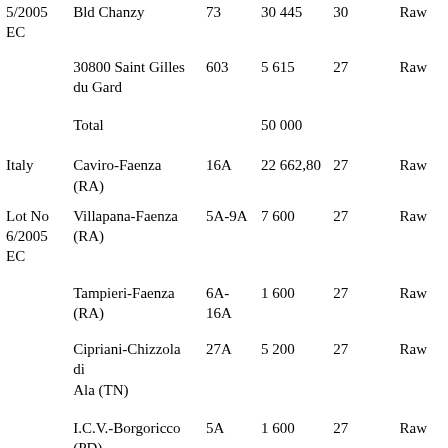| Lot | Name | Lot# | Qty | Deg |  | Type |
| --- | --- | --- | --- | --- | --- | --- |
| 5/2005 EC | Bld Chanzy | 73 | 30 445 | 30 |  | Raw |
|  | 30800 Saint Gilles du Gard | 603 | 5 615 | 27 |  | Raw |
|  | Total |  | 50 000 |  |  |  |
| Italy | Caviro-Faenza (RA) | 16A | 22 662,80 | 27 |  | Raw |
| Lot No 6/2005 EC | Villapana-Faenza (RA) | 5A-9A | 7 600 | 27 |  | Raw |
|  | Tampieri-Faenza (RA) | 6A-16A | 1 600 | 27 |  | Raw |
|  | Cipriani-Chizzola di Ala (TN) | 27A | 5 200 | 27 |  | Raw |
|  | I.C.V.-Borgoricco (PD) | 5A | 1 600 | 27 |  | Raw |